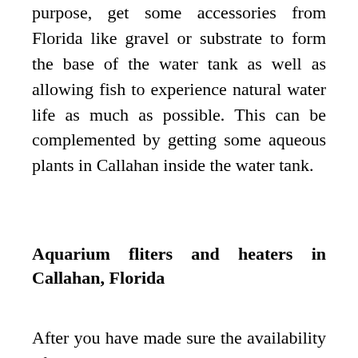purpose, get some accessories from Florida like gravel or substrate to form the base of the water tank as well as allowing fish to experience natural water life as much as possible. This can be complemented by getting some aqueous plants in Callahan inside the water tank.
Aquarium fliters and heaters in Callahan, Florida
After you have made sure the availability of all the above mentioned things, it's time to buy the most important thing for your aquarium. Yes, I am talking about a filter that will help to remove the waste of the fish quite easily and